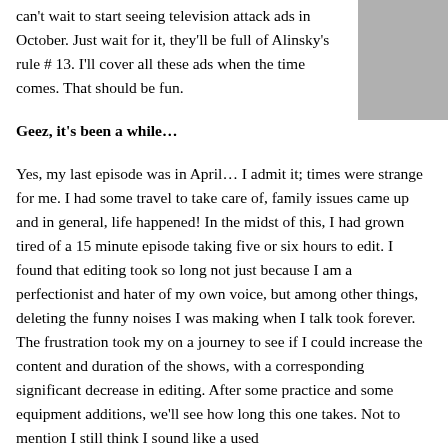can't wait to start seeing television attack ads in October. Just wait for it, they'll be full of Alinsky's rule # 13. I'll cover all these ads when the time comes. That should be fun.
Geez, it's been a while…
Yes, my last episode was in April… I admit it; times were strange for me. I had some travel to take care of, family issues came up and in general, life happened! In the midst of this, I had grown tired of a 15 minute episode taking five or six hours to edit. I found that editing took so long not just because I am a perfectionist and hater of my own voice, but among other things, deleting the funny noises I was making when I talk took forever. The frustration took my on a journey to see if I could increase the content and duration of the shows, with a corresponding significant decrease in editing. After some practice and some equipment additions, we'll see how long this one takes. Not to mention I still think I sound like a used